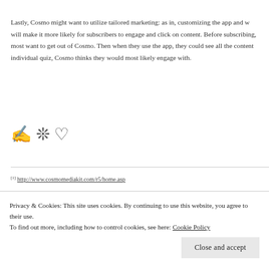Lastly, Cosmo might want to utilize tailored marketing: as in, customizing the app and w will make it more likely for subscribers to engage and click on content. Before subscribing, most want to get out of Cosmo. Then when they use the app, they could see all the content individual quiz, Cosmo thinks they would most likely engage with.
[Figure (illustration): Three emoji-style icons: a pencil/writing hand emoji, a starburst/sparkle emoji, and a heart/love emoji]
[1] http://www.cosmomediakit.com/r5/home.asp
Privacy & Cookies: This site uses cookies. By continuing to use this website, you agree to their use. To find out more, including how to control cookies, see here: Cookie Policy